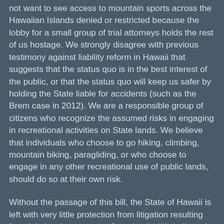not want to see access to mountain sports across the Hawaiian Islands denied or restricted because the lobby for a small group of trial attorneys holds the rest of us hostage. We strongly disagree with previous testimony against liability reform in Hawaii that suggests that the status quo is in the best interest of the public, or that the status quo will keep us safer by holding the State liable for accidents (such as the Brem case in 2012). We are a responsible group of citizens who recognize the assumed risks in engaging in recreational activities on State lands. We believe that individuals who choose to go hiking, climbing, mountain biking, paragliding, or who choose to engage in any other recreational use of public lands, should do so at their own risk.
Without the passage of this bill, the State of Hawaii is left with very little protection from litigation resulting from injuries that occur on State lands. We believe the lack of liability protection is wholly untenable, especially given the ever-growing popularity of mountain recreation to residents in Hawaii and visitors comprising our tourist economy.